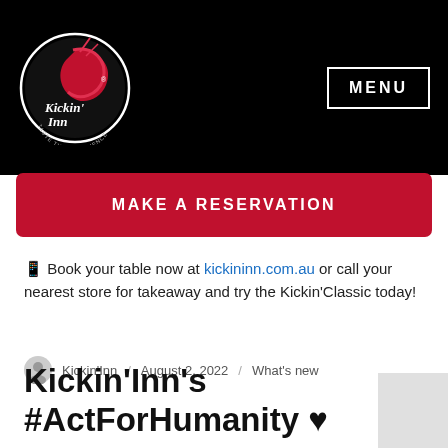[Figure (logo): Kickin' Inn Cajun Seafood logo — white circular badge with red shrimp illustration and script text 'Kickin' Inn', tagline 'Taste the Experience' on black background]
MENU
MAKE A RESERVATION
📱 Book your table now at kickininn.com.au or call your nearest store for takeaway and try the Kickin'Classic today!
Kickin'Inn / August 2, 2022 / What's new
Kickin'Inn's #ActForHumanity ♥